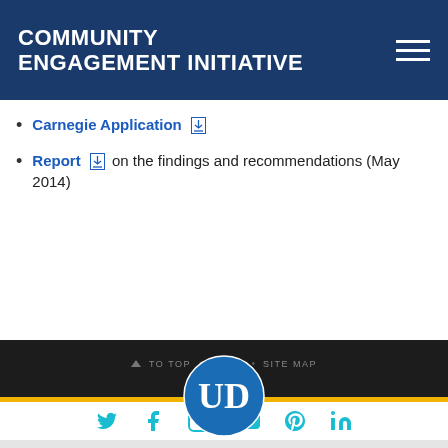COMMUNITY ENGAGEMENT INITIATIVE
Carnegie Application [PDF]
Report [PDF] on the findings and recommendations (May 2014)
[Figure (logo): University of Delaware circular logo with UD monogram in white on blue background]
[Figure (infographic): Social media icons: Twitter, Facebook, Instagram, YouTube, Pinterest, LinkedIn in teal/blue]
©2021 University of Delaware   Comments   Legal Notices